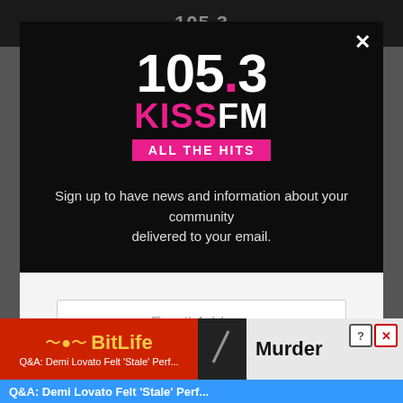[Figure (screenshot): 105.3 KISS FM radio station website modal dialog with email sign-up form and Facebook like prompt. Background shows dark top bar with '105.3' title. Modal has dark upper section with 105.3 KISS FM 'ALL THE HITS' logo, signup text, and white lower section with email address input field and 'Like Us On Facebook' heading. Bottom shows a BitLife red advertisement banner and a blue breaking news ticker.]
Sign up to have news and information about your community delivered to your email.
Email Address
Like Us On Facebook
Q&A: Demi Lovato Felt 'Stale' Perf...
Murder